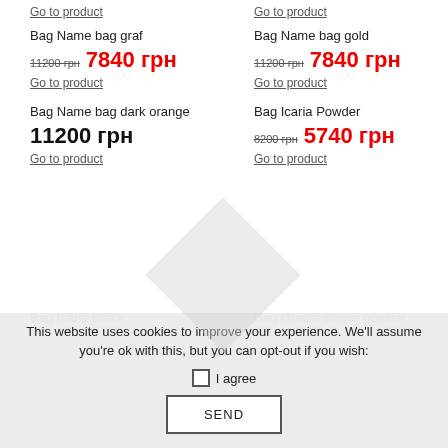Go to product
Go to product
Bag Name bag graf
11200 грн  7840 грн
Go to product
Bag Name bag gold
11200 грн  7840 грн
Go to product
Bag Name bag dark orange
11200 грн
Go to product
Bag Icaria Powder
8200 грн  5740 грн
Go to product
Bag Icaria Black
Bag Gracia Sense powder
This website uses cookies to improve your experience. We'll assume you're ok with this, but you can opt-out if you wish:
I agree
SEND